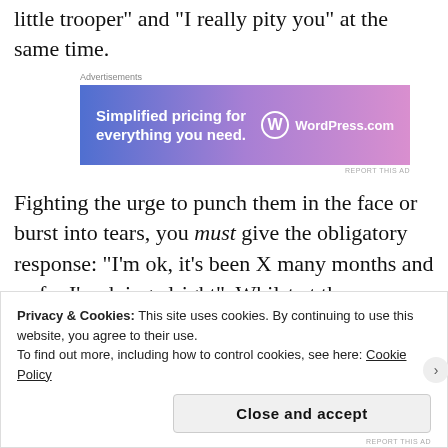little trooper" and "I really pity you" at the same time.
[Figure (other): WordPress.com advertisement banner with gradient blue-purple background. Text reads: 'Simplified pricing for everything you need.' with WordPress.com logo on right.]
Fighting the urge to punch them in the face or burst into tears, you must give the obligatory response: "I'm ok, it's been X many months and so far I'm doing alright". Whilst at the same time giving a small shrug and looking humble and yet bashful.
Privacy & Cookies: This site uses cookies. By continuing to use this website, you agree to their use.
To find out more, including how to control cookies, see here: Cookie Policy